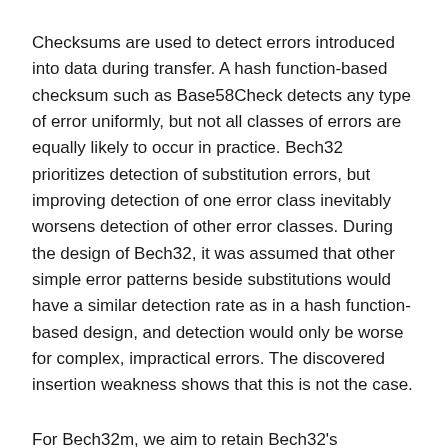Checksums are used to detect errors introduced into data during transfer. A hash function-based checksum such as Base58Check detects any type of error uniformly, but not all classes of errors are equally likely to occur in practice. Bech32 prioritizes detection of substitution errors, but improving detection of one error class inevitably worsens detection of other error classes. During the design of Bech32, it was assumed that other simple error patterns beside substitutions would have a similar detection rate as in a hash function-based design, and detection would only be worse for complex, impractical errors. The discovered insertion weakness shows that this is not the case.
For Bech32m, we aim to retain Bech32's guarantees for substitution errors, but make sure that other common errors don't perform worse than a hash function-based checksum would. To make sure the new standard is easy to implement, we restrict the design space to only amending the final constant that is xored in, as it was observed that that is